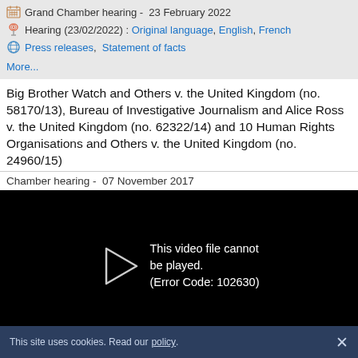Grand Chamber hearing - 23 February 2022
Hearing (23/02/2022) : Original language, English, French
Press releases, Statement of facts
More...
Big Brother Watch and Others v. the United Kingdom (no. 58170/13), Bureau of Investigative Journalism and Alice Ross v. the United Kingdom (no. 62322/14) and 10 Human Rights Organisations and Others v. the United Kingdom (no. 24960/15)
Chamber hearing - 07 November 2017
[Figure (screenshot): Black video player showing error message: 'This video file cannot be played. (Error Code: 102630)' with a play button arrow icon]
This site uses cookies. Read our policy.